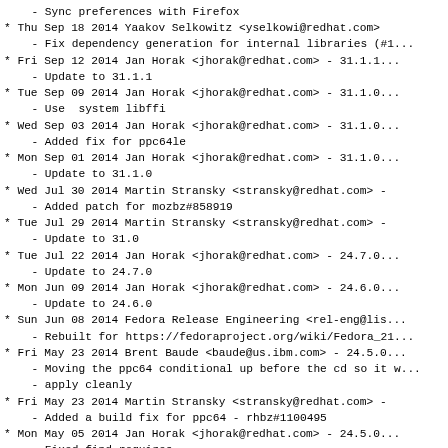- Sync preferences with Firefox
* Thu Sep 18 2014 Yaakov Selkowitz <yselkowi@redhat.com>
  - Fix dependency generation for internal libraries (#1...
* Fri Sep 12 2014 Jan Horak <jhorak@redhat.com> - 31.1.1...
  - Update to 31.1.1
* Tue Sep 09 2014 Jan Horak <jhorak@redhat.com> - 31.1.0...
  - Use  system libffi
* Wed Sep 03 2014 Jan Horak <jhorak@redhat.com> - 31.1.0...
  - Added fix for ppc64le
* Mon Sep 01 2014 Jan Horak <jhorak@redhat.com> - 31.1.0...
  - Update to 31.1.0
* Wed Jul 30 2014 Martin Stransky <stransky@redhat.com> -...
  - Added patch for mozbz#858919
* Tue Jul 29 2014 Martin Stransky <stransky@redhat.com> -...
  - Update to 31.0
* Tue Jul 22 2014 Jan Horak <jhorak@redhat.com> - 24.7.0...
  - Update to 24.7.0
* Mon Jun 09 2014 Jan Horak <jhorak@redhat.com> - 24.6.0...
  - Update to 24.6.0
* Sun Jun 08 2014 Fedora Release Engineering <rel-eng@lis...
  - Rebuilt for https://fedoraproject.org/wiki/Fedora_21...
* Fri May 23 2014 Brent Baude <baude@us.ibm.com> - 24.5.0...
  - Moving the ppc64 conditional up before the cd so it w...
  - apply cleanly
* Fri May 23 2014 Martin Stransky <stransky@redhat.com> -...
  - Added a build fix for ppc64 - rhbz#1100495
* Mon May 05 2014 Jan Horak <jhorak@redhat.com> - 24.5.0...
  - Fixed find requires
* Mon Apr 28 2014 Jan Horak <jhorak@redhat.com> - 24.5.0...
  - Update to 24.5.0